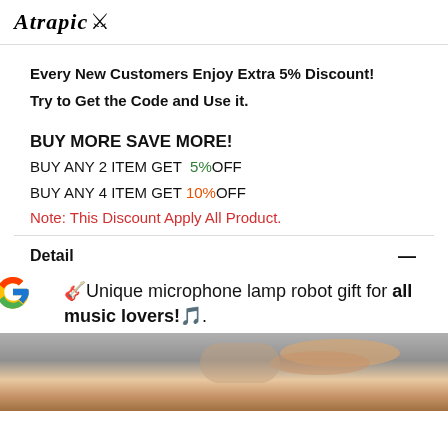Atrapic
Every New Customers Enjoy Extra 5% Discount!
Try to Get the Code and Use it.
BUY MORE SAVE MORE!
BUY ANY 2 ITEM GET 5%OFF
BUY ANY 4 ITEM GET 10%OFF
Note: This Discount Apply All Product.
Detail
🎸Unique microphone lamp robot gift for all music lovers!🎵.
[Figure (photo): Photo of a hand holding a product (microphone lamp robot)]